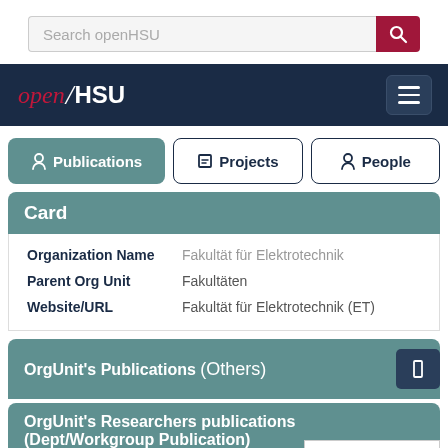[Figure (screenshot): Search bar with 'Search openHSU' placeholder and a red search button with magnifying glass icon]
[Figure (screenshot): Navigation bar with openHSU logo on left and hamburger menu button on right, dark navy background]
[Figure (screenshot): Tab buttons: Publications (active, teal), Projects (outline), People (outline)]
Card
| Field | Value |
| --- | --- |
| Organization Name | Fakultät für Elektrotechnik |
| Parent Org Unit | Fakultäten |
| Website/URL | Fakultät für Elektrotechnik (ET) |
OrgUnit's Publications (Others)
OrgUnit's Researchers publications (Dept/Workgroup Publication)
Show/Hide filters